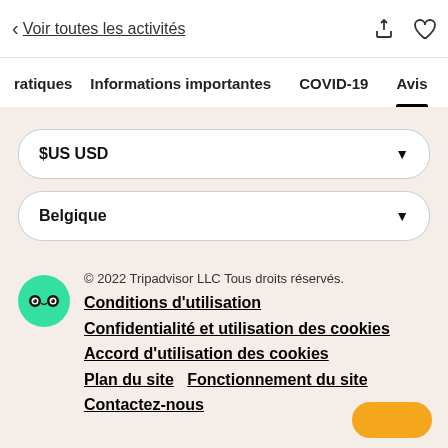< Voir toutes les activités
ratiques   Informations importantes   COVID-19   Avis
$US USD
Belgique
© 2022 Tripadvisor LLC Tous droits réservés.
Conditions d'utilisation
Confidentialité et utilisation des cookies
Accord d'utilisation des cookies
Plan du site    Fonctionnement du site
Contactez-nous
Cette version de notre site internet s'adresse aux personnes parlant français en Belgique. Si vous habitez un autre pays ou une autre région,